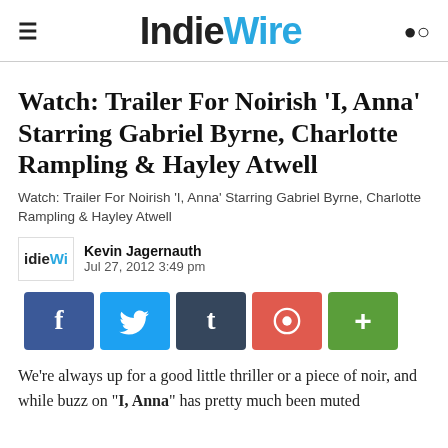IndieWire
Watch: Trailer For Noirish 'I, Anna' Starring Gabriel Byrne, Charlotte Rampling & Hayley Atwell
Watch: Trailer For Noirish 'I, Anna' Starring Gabriel Byrne, Charlotte Rampling & Hayley Atwell
Kevin Jagernauth
Jul 27, 2012 3:49 pm
[Figure (infographic): Social sharing buttons: Facebook (f), Twitter (bird icon), Tumblr (t), Pinterest (circle P), Plus (+)]
We're always up for a good little thriller or a piece of noir, and while buzz on "I, Anna" has pretty much been muted